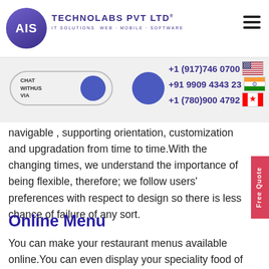[Figure (logo): AIS Technolabs Pvt Ltd logo — purple circle with AIS text, company name and tagline IT SOLUTIONS WEB · MOBILE · SOFTWARE]
[Figure (infographic): Header bar with chat widget toggle, avatar circle, phone numbers with country flags: +1 (917)746 0700 (US), +91 9909 4343 23 (India), +1 (780)900 4792 (Canada)]
navigable , supporting orientation, customization and upgradation from time to time.With the changing times, we understand the importance of being flexible, therefore; we follow users' preferences with respect to design so there is less chance of failure of any sort.
Online Menu
You can make your restaurant menus available online.You can even display your speciality food of the day. In addition, to adding your restaurant